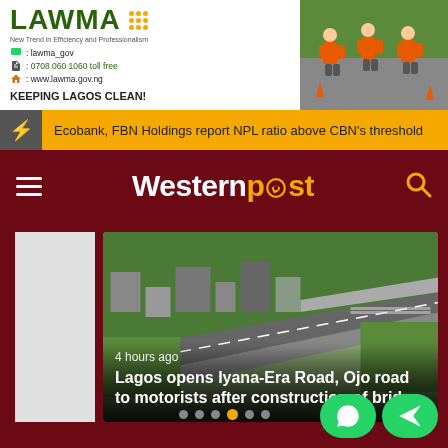[Figure (photo): LAWMA advertisement banner showing logo, contact info, and workers in orange uniforms]
Ecobank, FBN Holdings report NPL ratio above CBN's threshold
[Figure (logo): Western Post logo with ear icon]
[Figure (photo): Aerial view of Iyana-Era Road, Ojo with bridge construction and motorists]
4 hours ago
Lagos opens Iyana-Era Road, Ojo road to motorists after construction of bridge